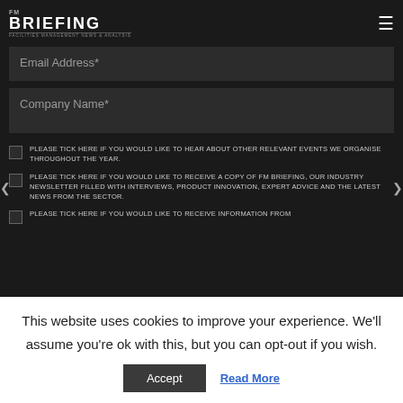FM BRIEFING FACILITIES MANAGEMENT NEWS & ANALYSIS
Email Address*
Company Name*
PLEASE TICK HERE IF YOU WOULD LIKE TO HEAR ABOUT OTHER RELEVANT EVENTS WE ORGANISE THROUGHOUT THE YEAR.
PLEASE TICK HERE IF YOU WOULD LIKE TO RECEIVE A COPY OF FM BRIEFING, OUR INDUSTRY NEWSLETTER FILLED WITH INTERVIEWS, PRODUCT INNOVATION, EXPERT ADVICE AND THE LATEST NEWS FROM THE SECTOR.
PLEASE TICK HERE IF YOU WOULD LIKE TO RECEIVE INFORMATION FROM
This website uses cookies to improve your experience. We'll assume you're ok with this, but you can opt-out if you wish.
Accept
Read More